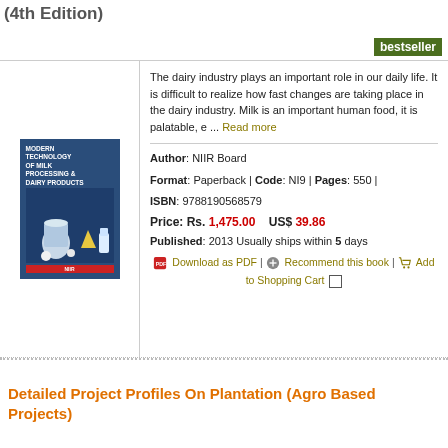(4th Edition)
bestseller
[Figure (illustration): Book cover of 'Modern Technology of Milk Processing & Dairy Products' with blue background and dairy product images]
The dairy industry plays an important role in our daily life. It is difficult to realize how fast changes are taking place in the dairy industry. Milk is an important human food, it is palatable, e ... Read more
Author: NIIR Board
Format: Paperback | Code: NI9 | Pages: 550 |
ISBN: 9788190568579
Price: Rs. 1,475.00   US$ 39.86
Published: 2013 Usually ships within 5 days
Download as PDF | Recommend this book | Add to Shopping Cart
Detailed Project Profiles On Plantation (Agro Based Projects)